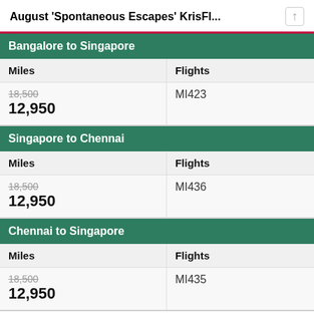August 'Spontaneous Escapes' KrisFl...
| Miles | Flights |
| --- | --- |
| 18,500
12,950 | MI423 |
| Miles | Flights |
| --- | --- |
| 18,500
12,950 | MI436 |
| Miles | Flights |
| --- | --- |
| 18,500
12,950 | MI435 |